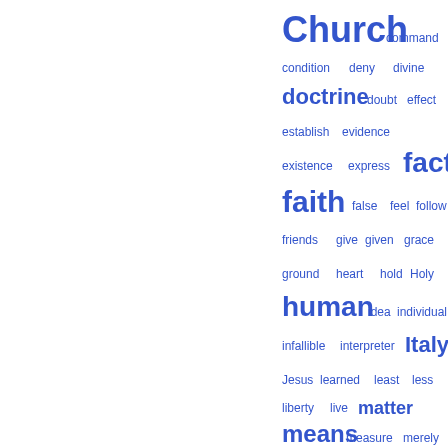[Figure (infographic): Word cloud showing theological and philosophical terms with varying font sizes indicating frequency. Largest words include 'Church', 'doctrine', 'fact', 'faith', 'human', 'Italy', 'means', 'nature'. Smaller words include command, condition, deny, divine, doubt, effect, establish, evidence, existence, express, false, feel, follow, friends, give, given, grace, ground, heart, hold, Holy, idea, individual, infallible, interpreter, Jesus, learned, least, less, liberty, live, matter, measure, merely, mind, ministry, miracle, moral, necessary, never, object, Observer, ourselves, Parker, perfect, philosophy.]